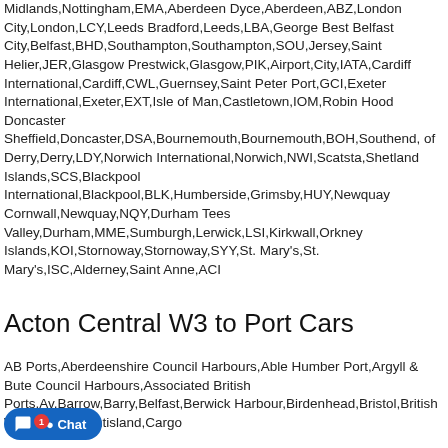Midlands,Nottingham,EMA,Aberdeen Dyce,Aberdeen,ABZ,London City,London,LCY,Leeds Bradford,Leeds,LBA,George Best Belfast City,Belfast,BHD,Southampton,Southampton,SOU,Jersey,Saint Helier,JER,Glasgow Prestwick,Glasgow,PIK,Airport,City,IATA,Cardiff International,Cardiff,CWL,Guernsey,Saint Peter Port,GCI,Exeter International,Exeter,EXT,Isle of Man,Castletown,IOM,Robin Hood Doncaster Sheffield,Doncaster,DSA,Bournemouth,Bournemouth,BOH,Southend, of Derry,Derry,LDY,Norwich International,Norwich,NWI,Scatsta,Shetland Islands,SCS,Blackpool International,Blackpool,BLK,Humberside,Grimsby,HUY,Newquay Cornwall,Newquay,NQY,Durham Tees Valley,Durham,MME,Sumburgh,Lerwick,LSI,Kirkwall,Orkney Islands,KOI,Stornoway,Stornoway,SYY,St. Mary's,St. Mary's,ISC,Alderney,Saint Anne,ACI
Acton Central W3 to Port Cars
AB Ports,Aberdeenshire Council Harbours,Able Humber Port,Argyll & Bute Council Harbours,Associated British Ports,Av,Barrow,Barry,Belfast,Berwick Harbour,Bird enhead,Bristol,British Waterways,Burntisland,Cargo